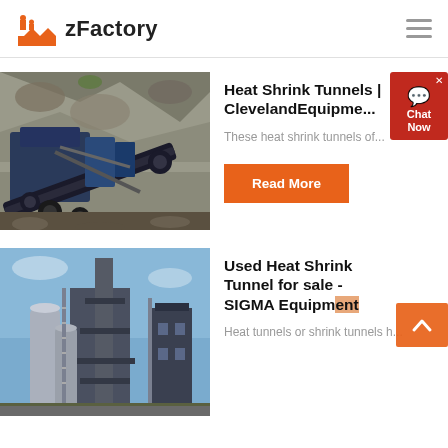zFactory
[Figure (photo): Industrial mining/crushing equipment at a rocky quarry site, with conveyor belts and heavy machinery against a rock face]
Heat Shrink Tunnels | ClevelandEquipme...
These heat shrink tunnels of...
Read More
[Figure (photo): Industrial factory building with metal towers, silos, and stairways against a blue sky]
Used Heat Shrink Tunnel for sale - SIGMA Equipment
Heat tunnels or shrink tunnels h...